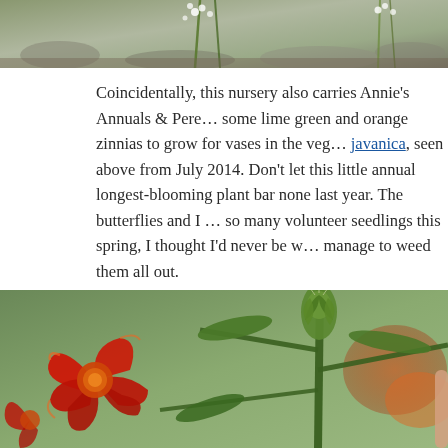[Figure (photo): Top partial photo showing plants with small white flowers and green stems against a grey/rocky background]
Coincidentally, this nursery also carries Annie's Annuals & Pere... some lime green and orange zinnias to grow for vases in the veg... javanica, seen above from July 2014. Don’t let this little annual longest-blooming plant bar none last year. The butterflies and I ... so many volunteer seedlings this spring, I thought I’d never be w... manage to weed them all out.
[Figure (photo): Close-up photo of red/dark red marigold flowers with green stems and a bud, with blurred orange/red flowers in background]